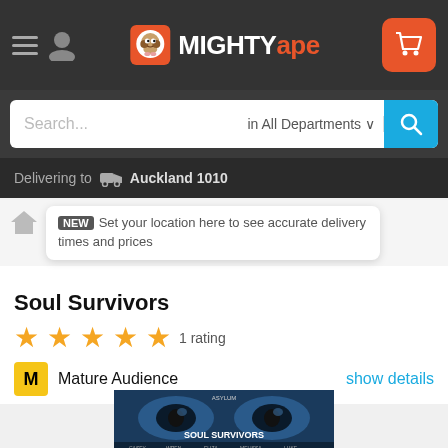Mighty Ape — navigation header with hamburger menu, user icon, logo, and cart button
Search... in All Departments
Delivering to Auckland 1010
NEW Set your location here to see accurate delivery times and prices
Soul Survivors
1 rating
M Mature Audience show details
[Figure (photo): Soul Survivors DVD/movie cover art — close-up of eyes with blue tones, actor credits at bottom, title 'SOUL SURVIVORS' in large text]